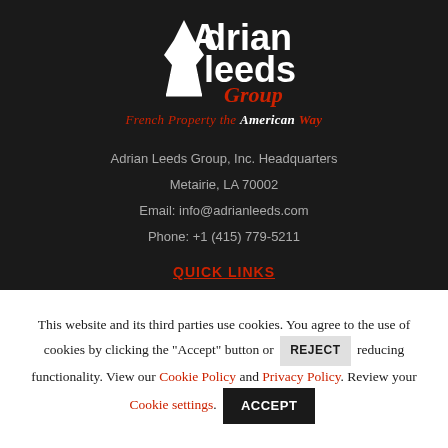[Figure (logo): Adrian Leeds Group logo with Eiffel Tower graphic, white text on dark background, red 'Group' text]
French Property the American Way
Adrian Leeds Group, Inc. Headquarters
Metairie, LA 70002
Email: info@adrianleeds.com
Phone: +1 (415) 779-5211
QUICK LINKS
This website and its third parties use cookies. You agree to the use of cookies by clicking the "Accept" button or REJECT reducing functionality. View our Cookie Policy and Privacy Policy. Review your Cookie settings. ACCEPT